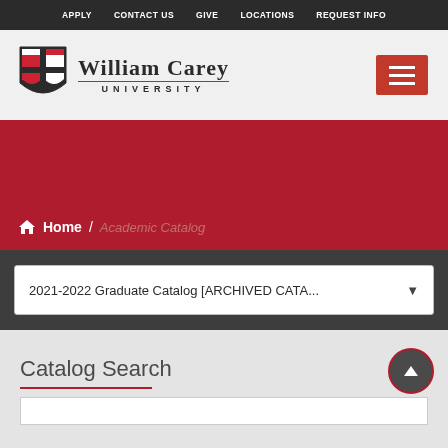APPLY  CONTACT US  GIVE  LOCATIONS  REQUEST INFO
[Figure (logo): William Carey University logo with shield emblem and university name]
Home / Academic Catalog
2021-2022 Graduate Catalog [ARCHIVED CATA...
Catalog Search